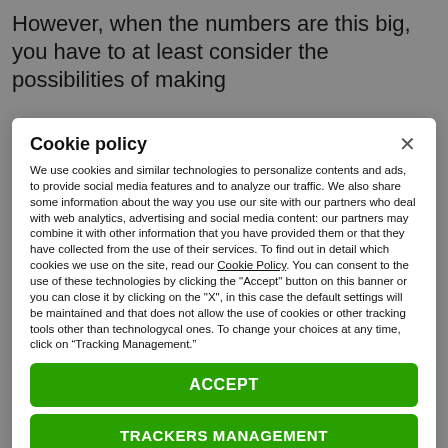However, when the numbers are this big, you have to at least consider the possibilities of making
Cookie policy
We use cookies and similar technologies to personalize contents and ads, to provide social media features and to analyze our traffic. We also share some information about the way you use our site with our partners who deal with web analytics, advertising and social media content: our partners may combine it with other information that you have provided them or that they have collected from the use of their services. To find out in detail which cookies we use on the site, read our Cookie Policy. You can consent to the use of these technologies by clicking the "Accept" button on this banner or you can close it by clicking on the "X", in this case the default settings will be maintained and that does not allow the use of cookies or other tracking tools other than technologycal ones. To change your choices at any time, click on “Tracking Management.”
ACCEPT
TRACKERS MANAGEMENT
Show vendors | Show purposes